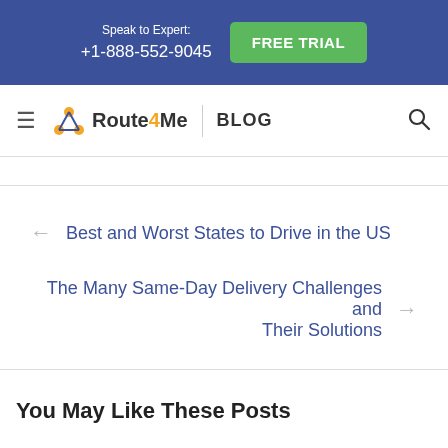Speak to Expert: +1-888-552-9045 | FREE TRIAL
Route4Me | BLOG
← Best and Worst States to Drive in the US
The Many Same-Day Delivery Challenges and Their Solutions →
You May Like These Posts